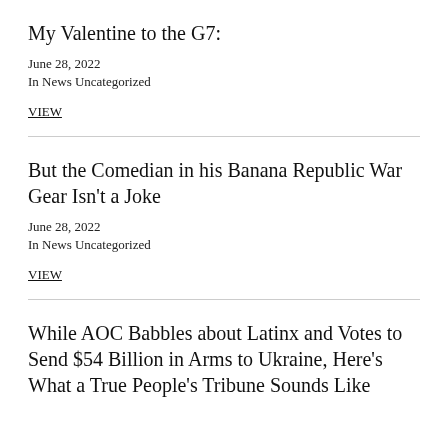My Valentine to the G7:
June 28, 2022
In News Uncategorized
VIEW
But the Comedian in his Banana Republic War Gear Isn't a Joke
June 28, 2022
In News Uncategorized
VIEW
While AOC Babbles about Latinx and Votes to Send $54 Billion in Arms to Ukraine, Here's What a True People's Tribune Sounds Like